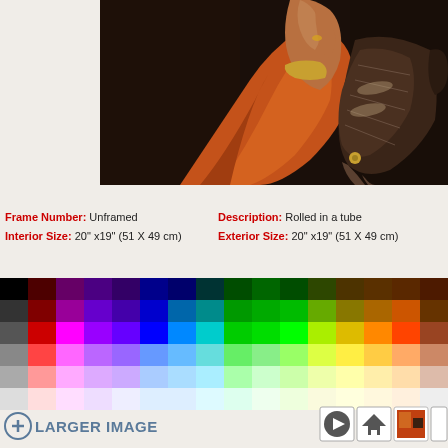[Figure (photo): Painting detail showing a person wearing an orange/rust leather glove holding a hawk or falcon bird of prey against a dark background.]
Frame Number: Unframed   Description: Rolled in a tube
Interior Size: 20" x19" (51 X 49 cm)   Exterior Size: 20" x19" (51 X 49 cm)
[Figure (other): Color palette swatch grid showing a gradient of colors from black/dark through primary colors to white/light, arranged in 6 rows and approximately 28 columns.]
LARGER IMAGE
[Figure (other): Navigation icons: play button, home icon, thumbnail image, and additional icon.]